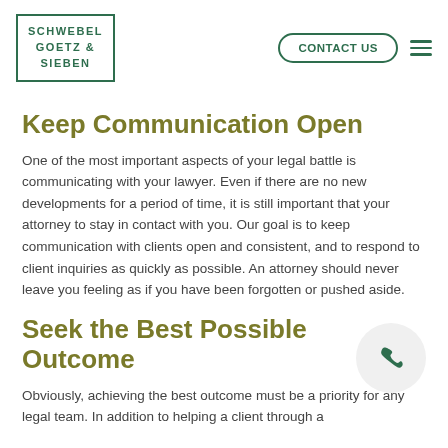SCHWEBEL GOETZ & SIEBEN | CONTACT US
Keep Communication Open
One of the most important aspects of your legal battle is communicating with your lawyer. Even if there are no new developments for a period of time, it is still important that your attorney to stay in contact with you. Our goal is to keep communication with clients open and consistent, and to respond to client inquiries as quickly as possible. An attorney should never leave you feeling as if you have been forgotten or pushed aside.
Seek the Best Possible Outcome
Obviously, achieving the best outcome must be a priority for any legal team. In addition to helping a client through a